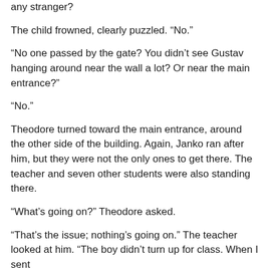any stranger?
The child frowned, clearly puzzled. “No.”
“No one passed by the gate? You didn’t see Gustav hanging around near the wall a lot? Or near the main entrance?”
“No.”
Theodore turned toward the main entrance, around the other side of the building. Again, Janko ran after him, but they were not the only ones to get there. The teacher and seven other students were also standing there.
“What’s going on?” Theodore asked.
“That’s the issue; nothing’s going on.” The teacher looked at him. “The boy didn’t turn up for class. When I sent